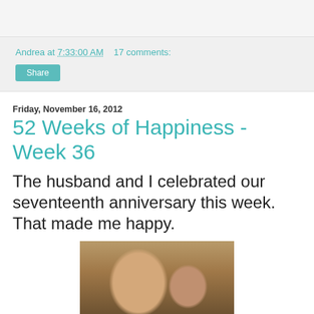Andrea at 7:33:00 AM   17 comments:
Share
Friday, November 16, 2012
52 Weeks of Happiness - Week 36
The husband and I celebrated our seventeenth anniversary this week. That made me happy.
[Figure (photo): Photo of a couple, a bald man and a dark-haired woman, smiling together indoors]